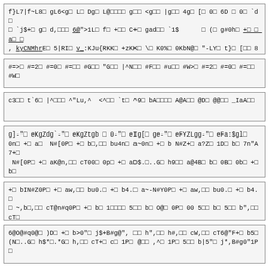f}L7|f~L8� gL6<g� L� Dg� L@���� g�� <g�� |g�� 4g� [� 0� 6D � 0� `d� � `j$+� g� d,��� 6@">1L� f� +� C+� gad�� `1$      � (� g#0h� +� � a� � 0� , kyCNMhrE� 5|RI� v_:KJu{RKK� +zKK� � K0%� 0KbN@� "-LY� t}� [�� 8�
#=>� #=2� #=0� #=�� #G�� "G�� |ˆN�� #F�� #u�� #W>� #=2� #=0� #=�� #W�
c3�� t`6� |ˆ��� ˆ"Lu,ˆ  <ˆ�� `t� ˆ9� bA���� A@A�� @D� @@�� _IaA��
g]-"� eKgZdg`-"� eKgZtgb � 0-"� eIg[� ge-"� eFYZLgg-"� eFa:$gl� 0n� +� a�  N#[0P� +� b�,�� bu4n� a~0n� +� b N#Z+� a?Z� 1D� b� 7n"A7+�  N#[0P� +� aK@n,�� cT00� 0p� +� aD$..�..G� h9�� a@4B� b� 0B� 0b� +� b�
+� bIN#Z0P� +� aw,�� bu0.� +� b4.� a~-N#Y0P� +� aw,�� bu0.� +� b4.� � ~,b�,�� cT@n#q0P� +� b� 1���� 5�� b� O@� 0P� 00 5�� b� 5�� b",�� cT�
6@O@#q0@� )D� +� b>0"� j$+B#g@", �� h",�� h#,�� cW,�� cT6@"F+� b5� (N�..G� h$*�.*G� h,�� cT+� c� 1P� @�� ,ˆ� 1P� 5�� b|5"� j*,B#g0"1P�